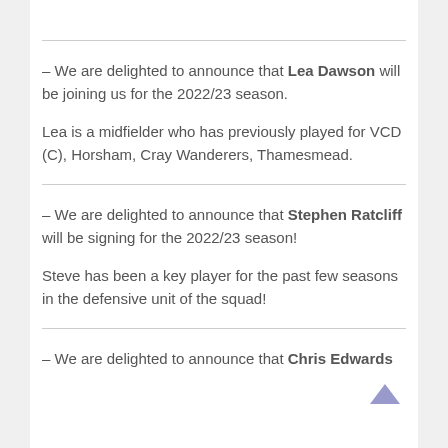– We are delighted to announce that Lea Dawson will be joining us for the 2022/23 season.

Lea is a midfielder who has previously played for VCD (C), Horsham, Cray Wanderers, Thamesmead.
– We are delighted to announce that Stephen Ratcliff will be signing for the 2022/23 season!

Steve has been a key player for the past few seasons in the defensive unit of the squad!
– We are delighted to announce that Chris Edwards